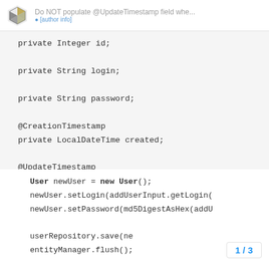Do NOT populate @UpdateTimestamp field whe... ● [author info]
private Integer id;

private String login;

private String password;

@CreationTimestamp
private LocalDateTime created;

@UpdateTimestamp
private LocalDateTime modified;
User newUser = new User();
newUser.setLogin(addUserInput.getLogin(
newUser.setPassword(md5DigestAsHex(addU

userRepository.save(ne
entityManager.flush();
1 / 3